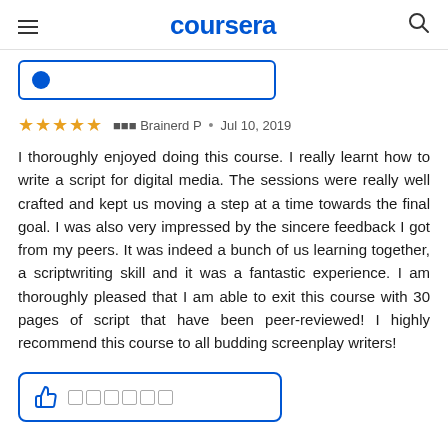coursera
Brainerd P · Jul 10, 2019
I thoroughly enjoyed doing this course. I really learnt how to write a script for digital media. The sessions were really well crafted and kept us moving a step at a time towards the final goal. I was also very impressed by the sincere feedback I got from my peers. It was indeed a bunch of us learning together, a scriptwriting skill and it was a fantastic experience. I am thoroughly pleased that I am able to exit this course with 30 pages of script that have been peer-reviewed! I highly recommend this course to all budding screenplay writers!